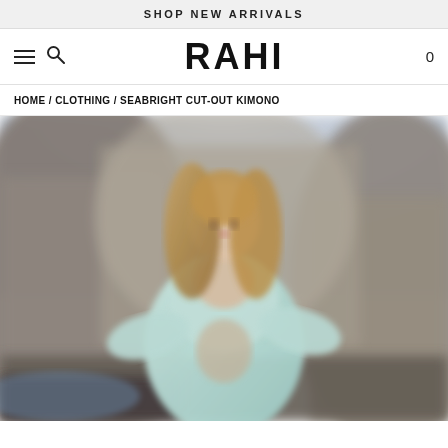SHOP NEW ARRIVALS
RAHI
HOME / CLOTHING / SEABRIGHT CUT-OUT KIMONO
[Figure (photo): A woman with long blonde hair wearing a light mint/seafoam cut-out kimono, standing in front of rocky coastal cliffs. The photo is slightly blurred/soft focus.]